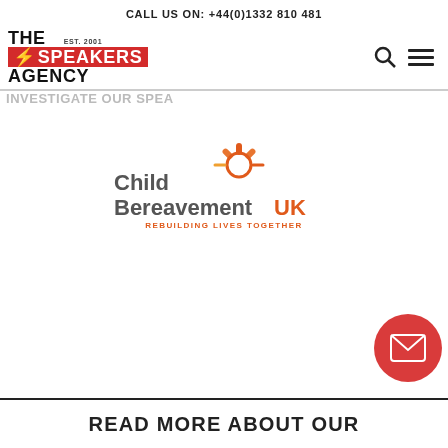CALL US ON: +44(0)1332 810 481
[Figure (logo): The Speakers Agency logo with EST. 2001, red lightning bolt, and red banner for SPEAKERS]
[Figure (logo): Child Bereavement UK - Rebuilding Lives Together logo with sun graphic in orange/red gradient]
READ MORE ABOUT OUR